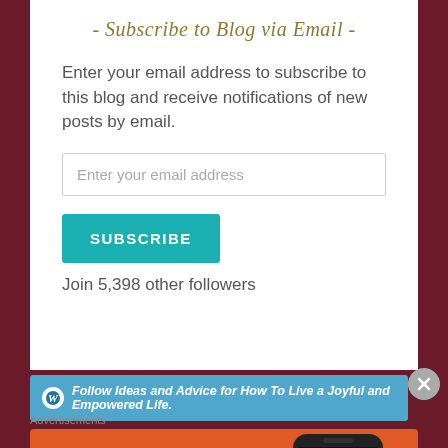- Subscribe to Blog via Email -
Enter your email address to subscribe to this blog and receive notifications of new posts by email.
Enter your email address
SUBSCRIBE
Join 5,398 other followers
Follow Ideas and Advice for How To Live a Joyful and Empowered Life.
Advertisements
[Figure (other): DuckDuckGo advertisement: orange banner with text 'Search, browse, and email with more privacy. All in One Free App' and a phone image showing the DuckDuckGo app logo]